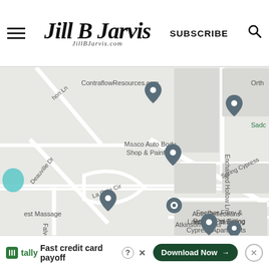Jill B Jarvis | JillBJarvis.com | SUBSCRIBE
[Figure (map): Google Maps screenshot showing area near Spring Cypress, Houston TX with pins for ContraflowResources.com, Greater Houston Real Estate, Maaco Auto Body Shop & Painting, Auto Reflections Window Tinting, Feather Furry & Reptile Pet Sitting, Landmark at Spring Cypress Apartments, and Atkinson Farms. Streets visible include Enchanted Hollow Ln, Spring Cypress, Deauville Dr, La Cote Cir, Falvel Rd.]
Fast credit card payoff
Download Now →